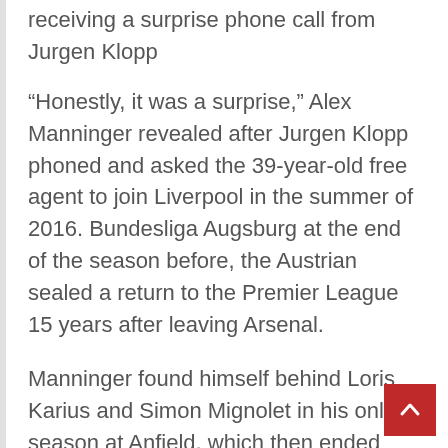receiving a surprise phone call from Jurgen Klopp
“Honestly, it was a surprise,” Alex Manninger revealed after Jurgen Klopp phoned and asked the 39-year-old free agent to join Liverpool in the summer of 2016. Bundesliga Augsburg at the end of the season before, the Austrian sealed a return to the Premier League 15 years after leaving Arsenal.
Manninger found himself behind Loris Karius and Simon Mignolet in his only season at Anfield, which then ended with his retirement announcement. “Of course it’s only natural that I would have liked to play a game…” Manninger said after making a grand total of zero